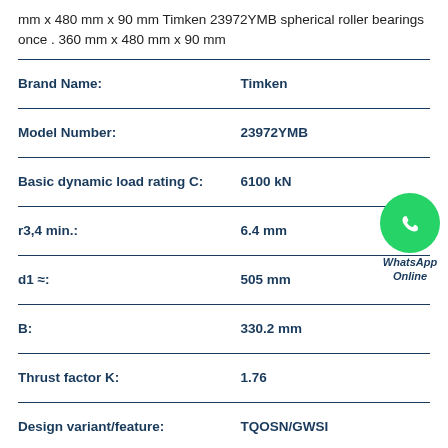mm x 480 mm x 90 mm Timken 23972YMB spherical roller bearings once . 360 mm x 480 mm x 90 mm
| Property | Value |
| --- | --- |
| Brand Name: | Timken |
| Model Number: | 23972YMB |
| Basic dynamic load rating C: | 6100 kN |
| r3,4 min.: | 6.4 mm |
| d1 ≈: | 505 mm |
| B: | 330.2 mm |
| Thrust factor K: | 1.76 |
| Design variant/feature: | TQOSN/GWSI |
| D: | 615.95 mm |
[Figure (logo): WhatsApp green circle icon with phone handset, labeled WhatsApp Online]